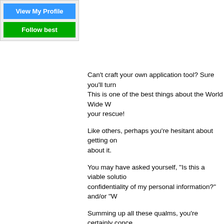[Figure (screenshot): Two buttons: 'View My Profile' (blue) and 'Follow best' (green) inside a light grey bordered box in the top-left corner]
Can't craft your own application tool? Sure you'll turn to someone else. This is one of the best things about the World Wide W... your rescue!
Like others, perhaps you're hesitant about getting on... about it.
You may have asked yourself, "Is this a viable solutio... confidentiality of my personal information?" and/or "W...
Summing up all these qualms, you're certainly conce... your personal marketing tool. Of course, you definite... know if that someone is the "best"? How are you goin...
Below are 10 factors that you must consider when hi...
Your writer must be…
Knowledgeable
Look for someone who doesn't only know how to wri...